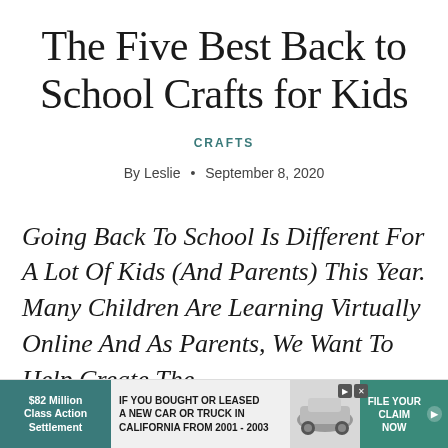The Five Best Back to School Crafts for Kids
CRAFTS
By Leslie • September 8, 2020
Going Back To School Is Different For A Lot Of Kids (And Parents) This Year. Many Children Are Learning Virtually Online And As Parents, We Want To Help Create The
[Figure (other): Advertisement banner: $82 Million Class Action Settlement — IF YOU BOUGHT OR LEASED A NEW CAR OR TRUCK IN CALIFORNIA FROM 2001 - 2003 — FILE YOUR CLAIM NOW]